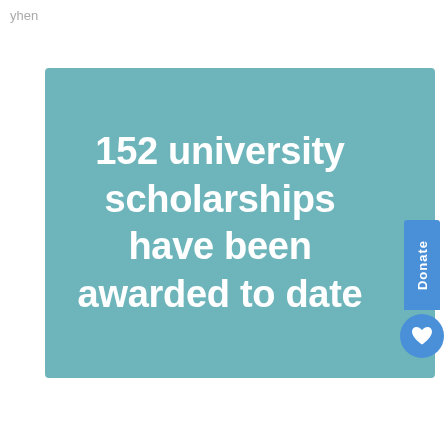yhen
152 university scholarships have been awarded to date